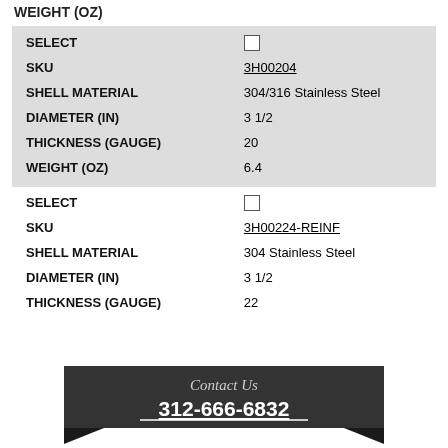WEIGHT (OZ)
| Field | Value |
| --- | --- |
| SELECT | ☐ |
| SKU | 3H00204 |
| SHELL MATERIAL | 304/316 Stainless Steel |
| DIAMETER (IN) | 3 1/2 |
| THICKNESS (GAUGE) | 20 |
| WEIGHT (OZ) | 6.4 |
| Field | Value |
| --- | --- |
| SELECT | ☐ |
| SKU | 3H00224-REINF |
| SHELL MATERIAL | 304 Stainless Steel |
| DIAMETER (IN) | 3 1/2 |
| THICKNESS (GAUGE) | 22 |
[Figure (infographic): Contact Us banner with phone number 312-666-6832, dark background with ribbon/arrow decorations]